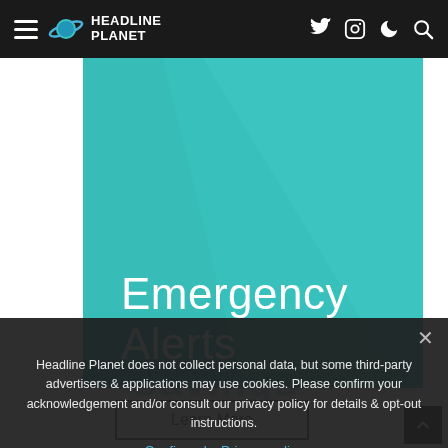Headline Planet — navigation bar with hamburger menu, logo, Twitter, Instagram, dark mode, and search icons
[Figure (illustration): Teal/turquoise hero image block with a diagonal lighter stripe, containing large white text reading 'Emergency Alerts']
Emergency Alerts
Savings
Learn More
Headline Planet does not collect personal data, but some third-party advertisers & applications may use cookies. Please confirm your acknowledgement and/or consult our privacy policy for details & opt-out instructions.
Confirmed  Privacy policy